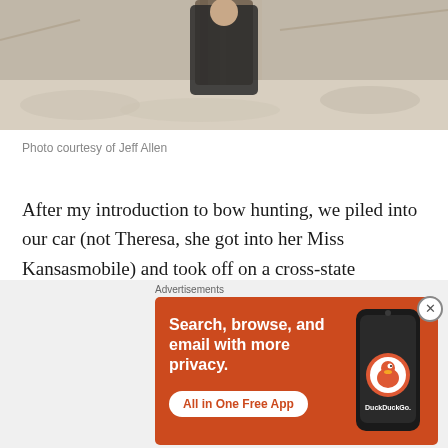[Figure (photo): Partial photo of a person standing near a tree in a snowy/wintry outdoor setting, wearing dark clothing]
Photo courtesy of Jeff Allen
After my introduction to bow hunting, we piled into our car (not Theresa, she got into her Miss Kansasmobile) and took off on a cross-state adventure. With Winter Storm Cleon cancelling our flight from Kansas to Arkansas, we pledged that a little snow and ice would not keep us down, so we decided to drive the nine hours to Little Rock. For the girl who hates to drive, this took some convincing, but
[Figure (advertisement): DuckDuckGo advertisement with orange background. Text: Search, browse, and email with more privacy. All in One Free App. Shows a smartphone with DuckDuckGo logo.]